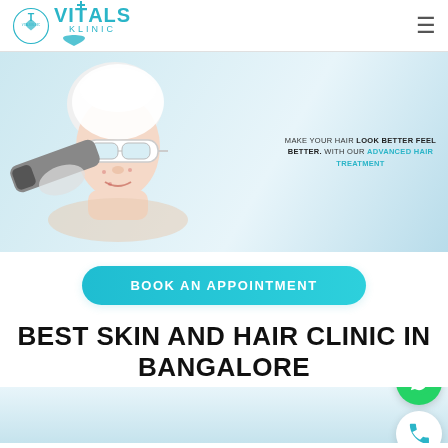[Figure (logo): Vitals Klinic logo with circular emblem and teal text]
[Figure (photo): Woman wearing white protective goggles receiving laser skin treatment device near face, light blue background, with text overlay: MAKE YOUR HAIR LOOK BETTER FEEL BETTER. WITH OUR ADVANCED HAIR TREATMENT]
BOOK AN APPOINTMENT
BEST SKIN AND HAIR CLINIC IN BANGALORE